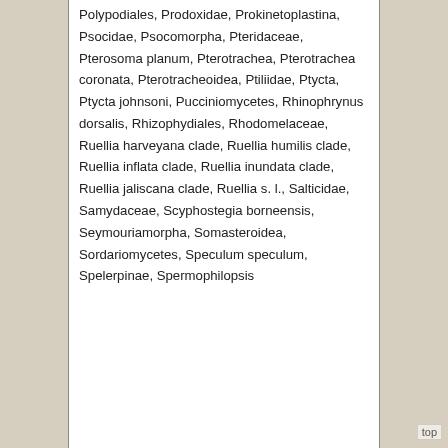Polypodiales, Prodoxidae, Prokinetoplastina, Psocidae, Psocomorpha, Pteridaceae, Pterosoma planum, Pterotrachea, Pterotrachea coronata, Pterotracheoidea, Ptiliidae, Ptycta, Ptycta johnsoni, Pucciniomycetes, Rhinophrynus dorsalis, Rhizophydiales, Rhodomelaceae, Ruellia harveyana clade, Ruellia humilis clade, Ruellia inflata clade, Ruellia inundata clade, Ruellia jaliscana clade, Ruellia s. l., Salticidae, Samydaceae, Scyphostegia borneensis, Seymouriamorpha, Somasteroidea, Sordariomycetes, Speculum speculum, Spelerpinae, Spermophilopsis
top